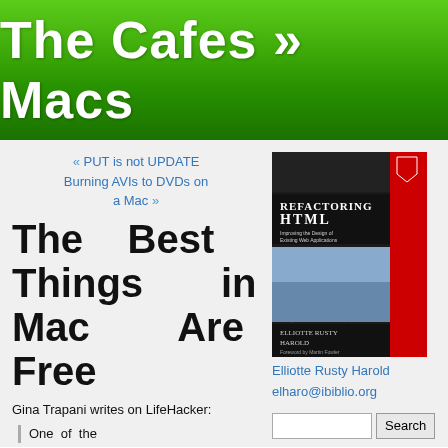The Cafes » Macs
« PUT is not UPDATE
Burning AVIs to DVDs on a Mac »
The Best Things in Mac Are Free
[Figure (photo): Book cover: Refactoring HTML by Elliotte Rusty Harold]
Gina Trapani writes on LifeHacker:
Elliotte Rusty Harold
elharo@ibiblio.org
One of the
[Search input and button]